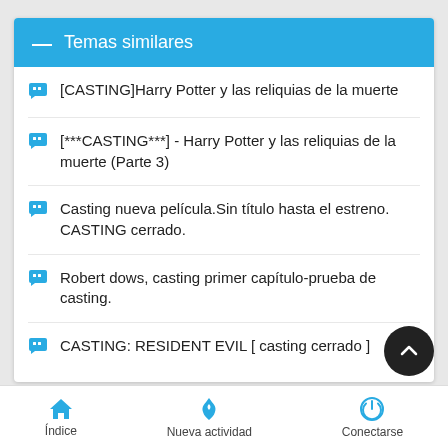Temas similares
[CASTING]Harry Potter y las reliquias de la muerte
[***CASTING***] - Harry Potter y las reliquias de la muerte (Parte 3)
Casting nueva película.Sin título hasta el estreno. CASTING cerrado.
Robert dows, casting primer capítulo-prueba de casting.
CASTING: RESIDENT EVIL [ casting cerrado ]
Índice   Nueva actividad   Conectarse